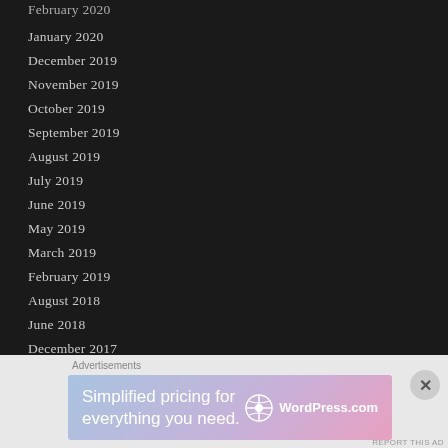February 2020
January 2020
December 2019
November 2019
October 2019
September 2019
August 2019
July 2019
June 2019
May 2019
March 2019
February 2019
August 2018
June 2018
December 2017
March 2017
[Figure (screenshot): WordPress.com advertisement banner: 'Simplified pricing for everything you need.' with WordPress.com logo]